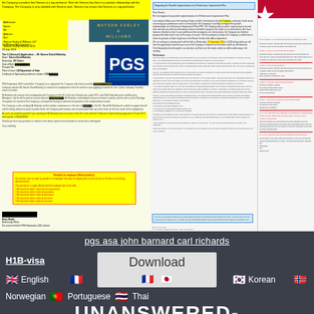[Figure (screenshot): Two-panel document image. Left panel: Yellow highlighted letter on Watson Farley & Williams letterhead with PGS logo, containing visa sponsorship text for Steven David Balanky. Right panel: Performance improvement plan letter with Texas state flag in corner and sidebar text. Both appear to be legal/immigration documents.]
pgs asa john barnard carl richards
H1B-visa
Download
English
Korean
Norwegian
Norwegian
Portuguese
Thai
UNANSWERED-